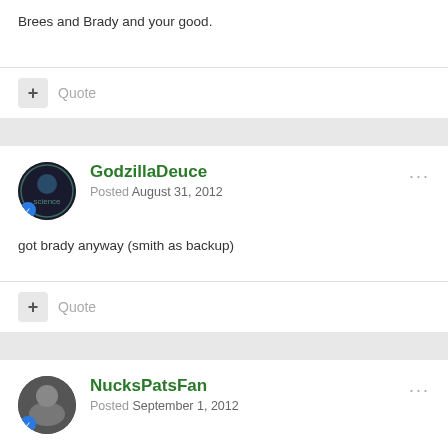Brees and Brady and your good.
+ Quote
GodzillaDeuce
Posted August 31, 2012
got brady anyway (smith as backup)
+ Quote
NucksPatsFan
Posted September 1, 2012
Hmm.